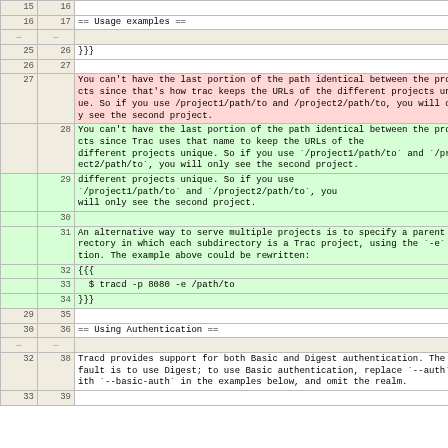| old ln | new ln | content |
| --- | --- | --- |
| 15 | 16 |  |
| 16 | 17 | == Usage examples == |
| … | … |  |
| 25 | 26 | }}} |
| 26 | 27 |  |
| 27 |  | You can't have the last portion of the path identical between the projects since that's how trac keeps the URLs of the different projects unique. So if you use /project1/path/to and /project2/path/to, you will only see the second project. |
|  | 28 | You can't have the last portion of the path identical between the projects since Trac uses that name to keep the URLs of the different projects unique. So if you use `/project1/path/to` and `/project2/path/to`, you will only see the second project. |
|  | 30 |  |
|  | 31 | An alternative way to serve multiple projects is to specify a parent directory in which each subdirectory is a Trac project, using the `-e` option. The example above could be rewritten: |
|  | 32 | {{{ |
|  | 33 |   $ tracd -p 8080 -e /path/to |
|  | 34 | }}} |
| 29 | 35 |  |
| 30 | 36 | == Using Authentication == |
| … | … |  |
| 32 | 38 | Tracd provides support for both Basic and Digest authentication. The default is to use Digest; to use Basic authentication, replace `--auth` with `--basic-auth` in the examples below, and omit the realm. |
| 33 | 39 |  |